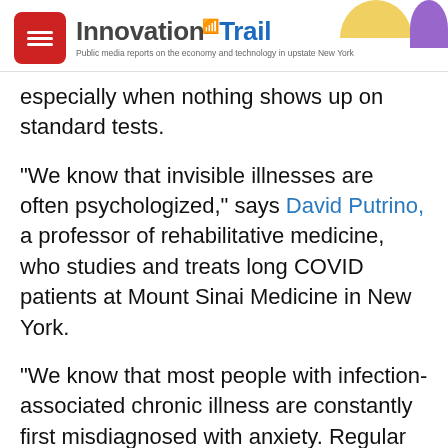Innovation Trail — Public media reports on the economy and technology in upstate New York
especially when nothing shows up on standard tests.
"We know that invisible illnesses are often psychologized," says David Putrino, a professor of rehabilitative medicine, who studies and treats long COVID patients at Mount Sinai Medicine in New York.
"We know that most people with infection-associated chronic illness are constantly first misdiagnosed with anxiety. Regular cookie-cutter testing isn't going to show up anything in your long-COVID patients. We need to look deeper," Putrino said.